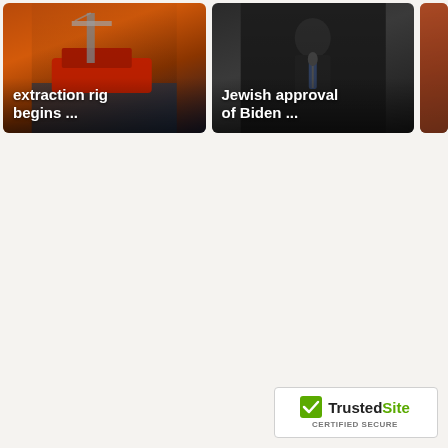[Figure (photo): News card thumbnail showing an oil extraction rig with red vessel, dark background. Text overlay reads 'extraction rig begins ...']
[Figure (photo): News card thumbnail showing a person at a microphone, dark background. Text overlay reads 'Jewish approval of Biden ...']
[Figure (photo): Partially visible third news card thumbnail on the right edge, partially cropped.]
[Figure (logo): TrustedSite CERTIFIED SECURE badge in bottom right corner]